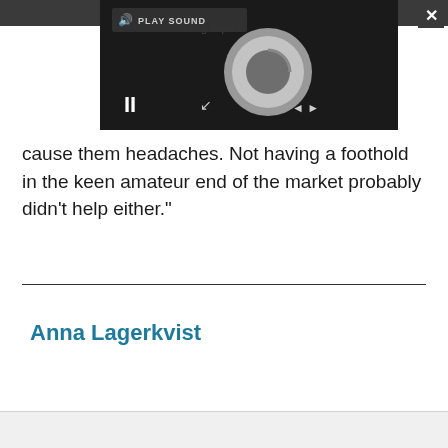[Figure (screenshot): A dark-themed media player overlay with a circular loading/play spinner, a PLAY SOUND button with speaker icon, a pause button (||), close (×) button, and expand arrows icon. The player background is dark/black.]
cause them headaches. Not having a foothold in the keen amateur end of the market probably didn't help either."
Anna Lagerkvist